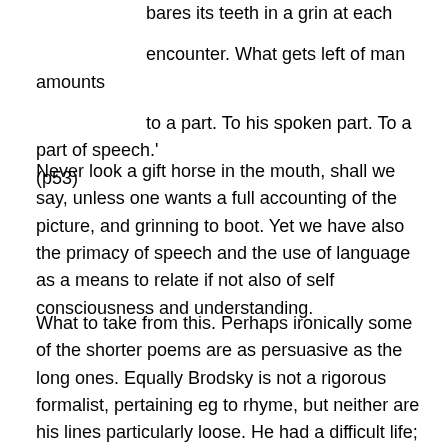bares its teeth in a grin at each encounter. What gets left of man amounts to a part. To his spoken part. To a part of speech.' (p53)
Never look a gift horse in the mouth, shall we say, unless one wants a full accounting of the picture, and grinning to boot. Yet we have also the primacy of speech and the use of language as a means to relate if not also of self consciousness and understanding.
What to take from this. Perhaps ironically some of the shorter poems are as persuasive as the long ones. Equally Brodsky is not a rigorous formalist, pertaining eg to rhyme, but neither are his lines particularly loose. He had a difficult life; for example, being exiled for 5 years in